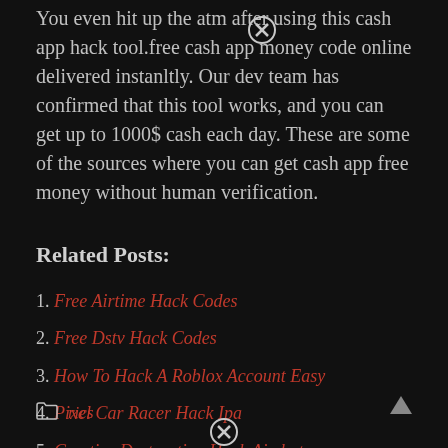You even hit up the atm after using this cash app hack tool.free cash app money code online delivered instanltly. Our dev team has confirmed that this tool works, and you can get up to 1000$ cash each day. These are some of the sources where you can get cash app free money without human verification.
Related Posts:
1. Free Airtime Hack Codes
2. Free Dstv Hack Codes
3. How To Hack A Roblox Account Easy
4. Pixel Car Racer Hack Ipa
5. Creative Destruction Hack Aimbot
rics